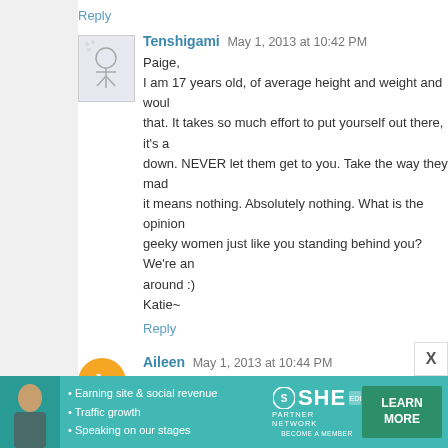Reply
Tenshigami  May 1, 2013 at 10:42 PM
Paige,
I am 17 years old, of average height and weight and would...
It takes so much effort to put yourself out there, it's a... down. NEVER let them get to you. Take the way they made... it means nothing. Absolutely nothing. What is the opinion... geeky women just like you standing behind you? We're an... around :)
Katie~
Reply
Aileen  May 1, 2013 at 10:44 PM
Tired tonight, can't read all the comments, but love all of yo...
Eff the haters, and watch this video: http://www.youtube.c... http://wilwheaton.net/2013/04/being-a-nerd-is-not-about-wh...
Reply
[Figure (infographic): SHE Media Partner Network advertisement banner with photo of woman, bullet points about earning site & social revenue, traffic growth, speaking on stages, SHE logo, and LEARN MORE button]